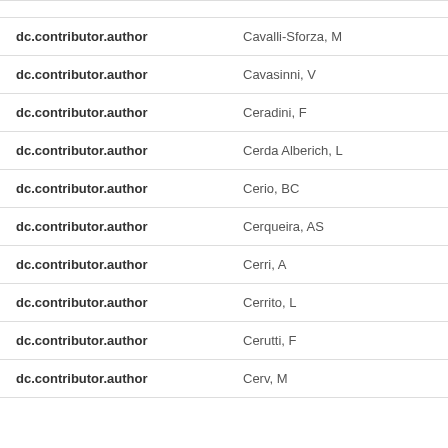| Field | Value |
| --- | --- |
| dc.contributor.author | Cavalli-Sforza, M |
| dc.contributor.author | Cavasinni, V |
| dc.contributor.author | Ceradini, F |
| dc.contributor.author | Cerda Alberich, L |
| dc.contributor.author | Cerio, BC |
| dc.contributor.author | Cerqueira, AS |
| dc.contributor.author | Cerri, A |
| dc.contributor.author | Cerrito, L |
| dc.contributor.author | Cerutti, F |
| dc.contributor.author | Cerv, M |